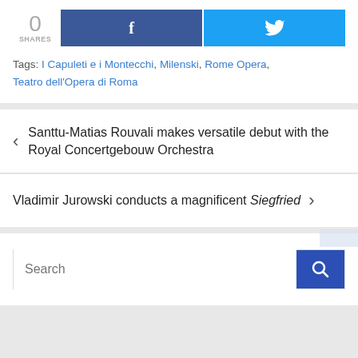0 SHARES
Tags: I Capuleti e i Montecchi, Milenski, Rome Opera, Teatro dell'Opera di Roma
< Santtu-Matias Rouvali makes versatile debut with the Royal Concertgebouw Orchestra
Vladimir Jurowski conducts a magnificent Siegfried >
Search